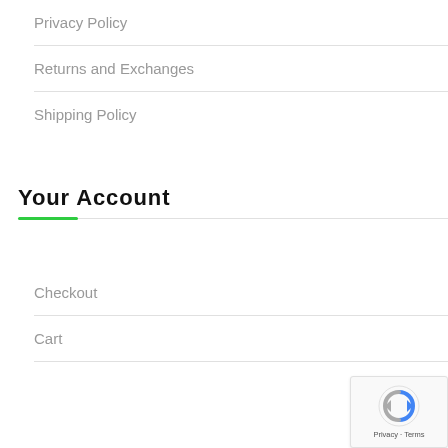Privacy Policy
Returns and Exchanges
Shipping Policy
Your Account
Checkout
Cart